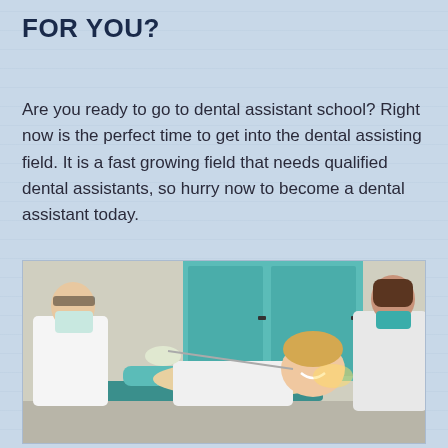FOR YOU?
Are you ready to go to dental assistant school? Right now is the perfect time to get into the dental assisting field. It is a fast growing field that needs qualified dental assistants, so hurry now to become a dental assistant today.
[Figure (photo): A dentist in a white coat and mask working on a smiling female patient in a dental chair, with a dental assistant in the background wearing a teal mask.]